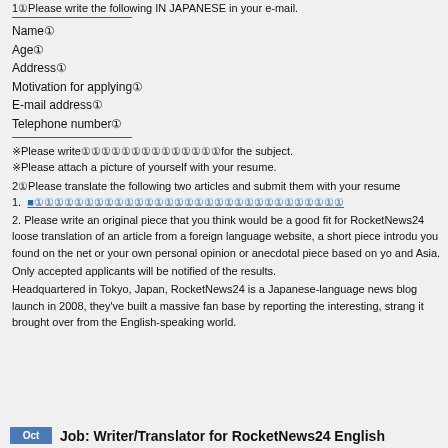1①Please write the following IN JAPANESE in your e-mail.
Name①
Age①
Address①
Motivation for applying①
E-mail address①
Telephone number①
※Please write①①①①①①①①①①①①①①for the subject.
※Please attach a picture of yourself with your resume.
2①Please translate the following two articles and submit them with your resume
1. ■①①①①①①①①①①①①①①①①①①①①①①①①①①①①①①①
2. Please write an original piece that you think would be a good fit for RocketNews24 loose translation of an article from a foreign language website, a short piece introducing something you found on the net or your own personal opinion or anecdotal piece based on you and Asia.
Only accepted applicants will be notified of the results.
Headquartered in Tokyo, Japan, RocketNews24 is a Japanese-language news blog launch in 2008, they've built a massive fan base by reporting the interesting, strang it brought over from the English-speaking world.
Oct  Job: Writer/Translator for RocketNews24 English